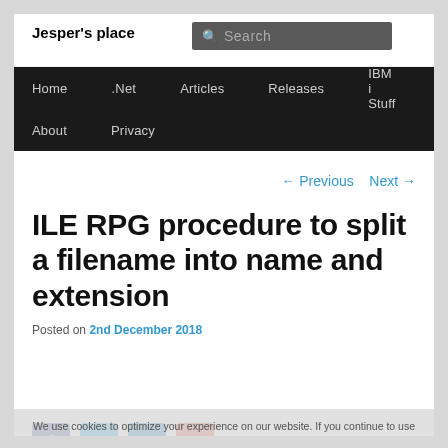Jesper's place
[Figure (screenshot): Search box overlay on navigation bar]
Home  .Net  Articles  Releases  IBM i Stuff  About  Privacy
← Previous   Next →
ILE RPG procedure to split a filename into name and extension
Posted on 2nd December 2018
We use cookies to optimize your experience on our website. If you continue to use the site, we'll assume that you are happy with it.
[Figure (infographic): Social share buttons: Facebook, Twitter, LinkedIn, Google+]